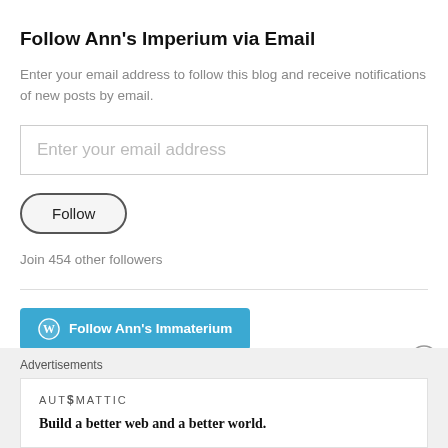Follow Ann's Imperium via Email
Enter your email address to follow this blog and receive notifications of new posts by email.
Enter your email address
Follow
Join 454 other followers
[Figure (other): Follow Ann's Immaterium button with WordPress logo in teal/blue color]
Advertisements
AUTOMATTIC
Build a better web and a better world.